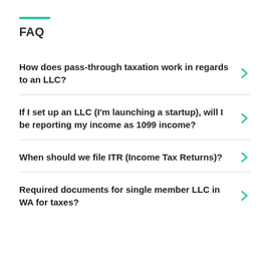FAQ
How does pass-through taxation work in regards to an LLC?
If I set up an LLC (I'm launching a startup), will I be reporting my income as 1099 income?
When should we file ITR (Income Tax Returns)?
Required documents for single member LLC in WA for taxes?